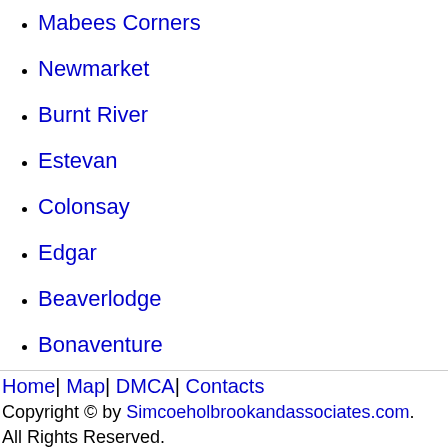Mabees Corners
Newmarket
Burnt River
Estevan
Colonsay
Edgar
Beaverlodge
Bonaventure
Home| Map| DMCA| Contacts
Copyright © by Simcoeholbrookandassociates.com.
All Rights Reserved.